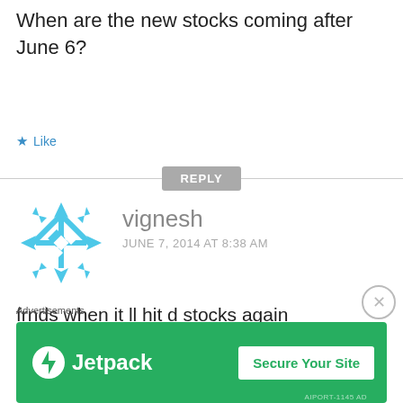When are the new stocks coming after June 6?
Like
REPLY
[Figure (illustration): WordPress-style geometric snowflake avatar in light blue for user vignesh]
vignesh
JUNE 7, 2014 AT 8:38 AM
frnds when it ll hit d stocks again ?????????????
Advertisements
[Figure (illustration): Jetpack by WordPress.com advertisement banner: green background with Jetpack logo and 'Secure Your Site' button]